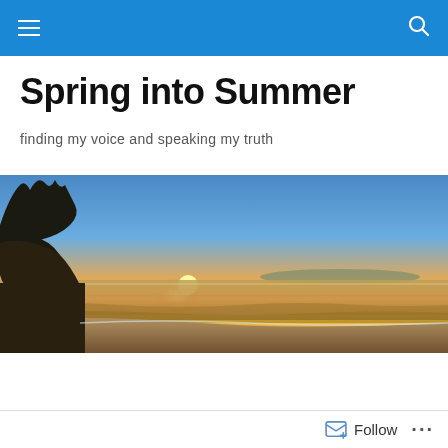Spring into Summer — navigation bar
Spring into Summer
finding my voice and speaking my truth
[Figure (photo): Wide beach sunset photo showing silhouetted trees on the left, a bright orange and yellow sunset on the horizon over calm water, sandy beach in the foreground]
My beliefs # 1 Peace
Follow